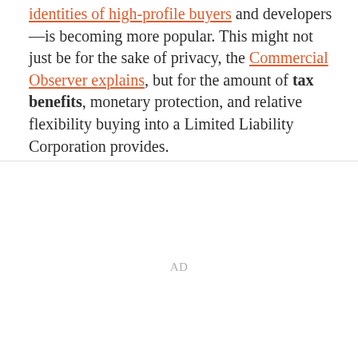identities of high-profile buyers and developers—is becoming more popular. This might not just be for the sake of privacy, the Commercial Observer explains, but for the amount of tax benefits, monetary protection, and relative flexibility buying into a Limited Liability Corporation provides.
AD